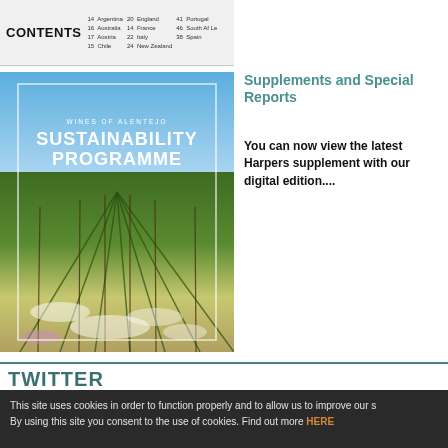[Figure (screenshot): Contents bar showing magazine contents listing with countries: Argentina, Australia, Austria, Chile, England, France, Italy, New Zealand, Portugal, South Africa, Spain]
[Figure (photo): Wines of Alentejo Sustainability Programme cover image showing vineyard rows with wildflowers under blue sky]
Supplements and Special Reports
You can now view the latest Harpers supplement with our digital edition....
TWITTER
This site uses cookies in order to function properly and to allow us to improve our s By using this site you consent to the use of cookies. Find out more HERE